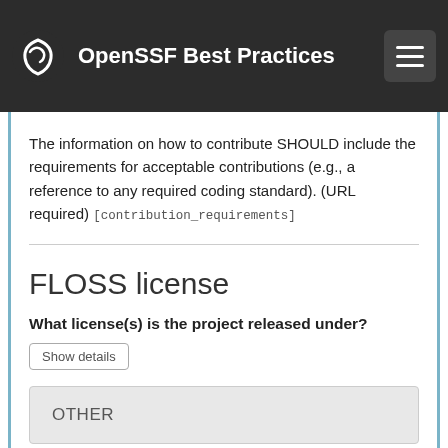OpenSSF Best Practices
The information on how to contribute SHOULD include the requirements for acceptable contributions (e.g., a reference to any required coding standard). (URL required) [contribution_requirements]
FLOSS license
What license(s) is the project released under?
Show details
OTHER